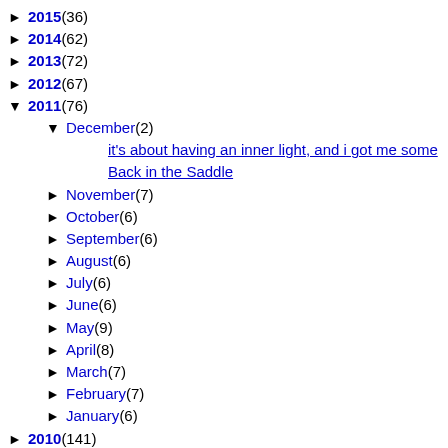► 2015 (36)
► 2014 (62)
► 2013 (72)
► 2012 (67)
▼ 2011 (76)
▼ December (2)
it's about having an inner light, and i got me some
Back in the Saddle
► November (7)
► October (6)
► September (6)
► August (6)
► July (6)
► June (6)
► May (9)
► April (8)
► March (7)
► February (7)
► January (6)
► 2010 (141)
► 2009 (47)